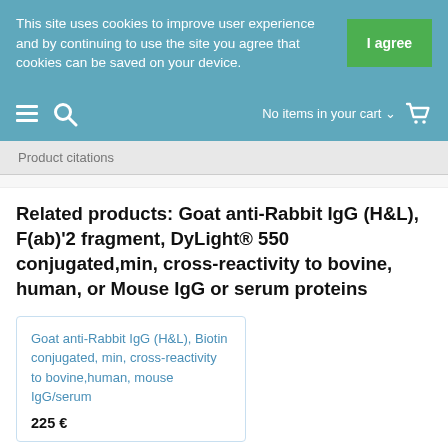This site uses cookies to improve user experience and by continuing to use the site you agree that cookies can be saved on your device.
No items in your cart
Product citations
Related products: Goat anti-Rabbit IgG (H&L), F(ab)'2 fragment, DyLight® 550 conjugated,min, cross-reactivity to bovine, human, or Mouse IgG or serum proteins
Goat anti-Rabbit IgG (H&L), Biotin conjugated, min, cross-reactivity to bovine,human, mouse IgG/serum
225 €